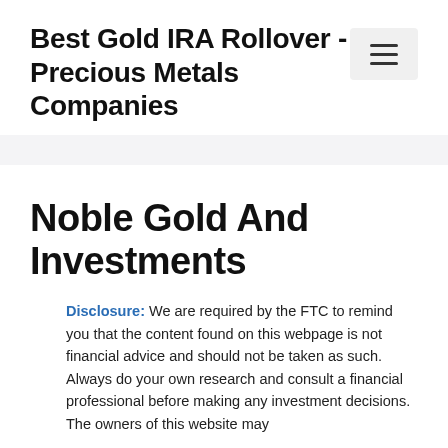Best Gold IRA Rollover - Precious Metals Companies
Noble Gold And Investments
Disclosure: We are required by the FTC to remind you that the content found on this webpage is not financial advice and should not be taken as such. Always do your own research and consult a financial professional before making any investment decisions. The owners of this website may